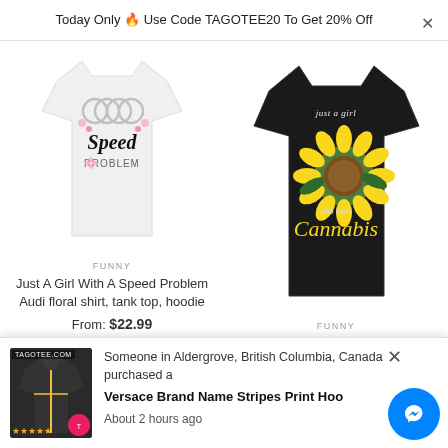Today Only 🔥 Use Code TAGOTEE20 To Get 20% Off
[Figure (photo): White t-shirt with Audi rings logo and 'Speed Problem' text with floral design]
FUNNY
Just A Girl With A Speed Problem Audi floral shirt, tank top, hoodie
From: $22.99
[Figure (photo): Black t-shirt with sunflower and cannabis leaf design, text 'Just a girl who loves Cannabis']
FUNNY
Just A Girl Who Loves Cannabis Weed Sunflowers shirt, hoodie, long sleeve
From: $22.99
[Figure (photo): Popup notification showing a dark hoodie product image with stars rating, Tagotee logo]
Someone in Aldergrove, British Columbia, Canada purchased a
Versace Brand Name Stripes Print Hoo
About 2 hours ago